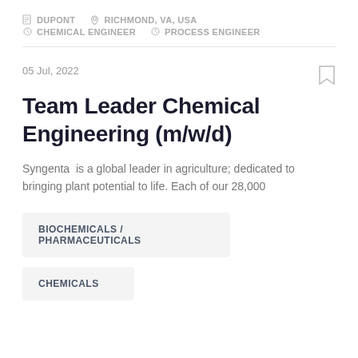DUPONT  RICHMOND, VA, USA  CHEMICAL ENGINEER  PROCESS ENGINEER
05 Jul, 2022
Team Leader Chemical Engineering (m/w/d)
Syngenta  is a global leader in agriculture; dedicated to bringing plant potential to life. Each of our 28,000
BIOCHEMICALS / PHARMACEUTICALS
CHEMICALS